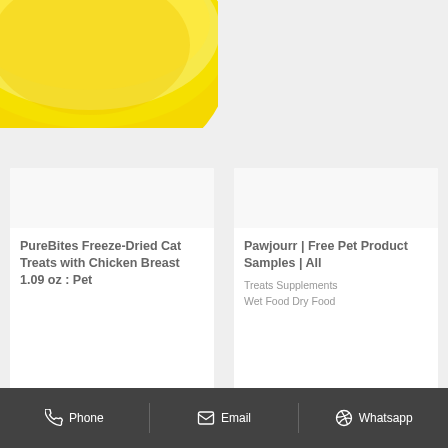[Figure (photo): Partial view of a yellow pet bowl, cropped in the top-left corner of the page against a light grey background]
PureBites Freeze-Dried Cat Treats with Chicken Breast 1.09 oz : Pet
Pawjourr | Free Pet Product Samples | All
Treats Supplements Wet Food Dry Food
Phone  Email  Whatsapp